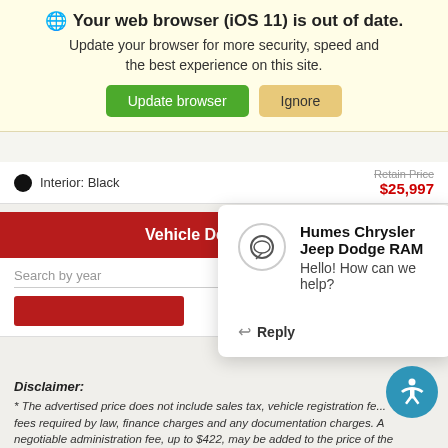[Figure (screenshot): Browser out-of-date banner with 'Update browser' (green) and 'Ignore' (tan) buttons, overlaid on a car dealership website showing Vehicle Details, a chat popup from Humes Chrysler Jeep Dodge RAM, a disclaimer section, and an accessibility button.]
🌐 Your web browser (iOS 11) is out of date.
Update your browser for more security, speed and the best experience on this site.
Update browser   Ignore
Interior: Black
Retain Price $25,997
Vehicle Details
Search by year
Humes Chrysler Jeep Dodge RAM
Hello! How can we help?
← Reply
< LAST
Disclaimer:
* The advertised price does not include sales tax, vehicle registration fe... fees required by law, finance charges and any documentation charges. A negotiable administration fee, up to $422, may be added to the price of the